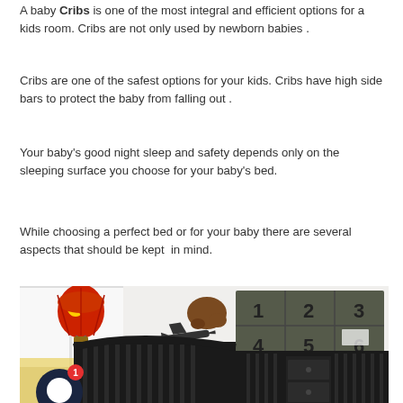A baby Cribs is one of the most integral and efficient options for a kids room. Cribs are not only used by newborn babies .
Cribs are one of the safest options for your kids. Cribs have high side bars to protect the baby from falling out .
Your baby's good night sleep and safety depends only on the sleeping surface you choose for your baby's bed.
While choosing a perfect bed or for your baby there are several aspects that should be kept in mind.
[Figure (photo): A nursery room photo showing a dark black baby crib/changing table combo. Background wall has a decorative wall organizer with numbers 1-6, a toy airplane, a hot air balloon decoration, and yellow bedding. A chat widget with notification badge showing '1' is overlaid in the bottom-left corner.]